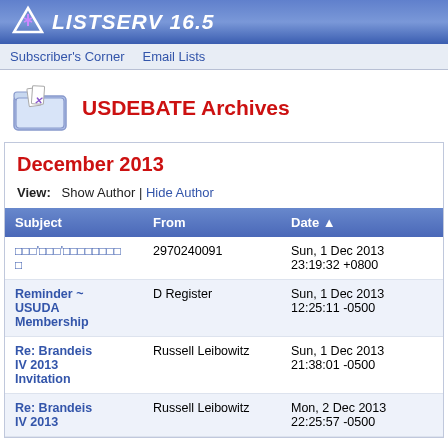LISTSERV 16.5
Subscriber's Corner | Email Lists
USDEBATE Archives
December 2013
View: Show Author | Hide Author
| Subject | From | Date ▲ |
| --- | --- | --- |
| [garbled text] | 2970240091 | Sun, 1 Dec 2013 23:19:32 +0800 |
| Reminder ~ USUDA Membership | D Register | Sun, 1 Dec 2013 12:25:11 -0500 |
| Re: Brandeis IV 2013 Invitation | Russell Leibowitz | Sun, 1 Dec 2013 21:38:01 -0500 |
| Re: Brandeis IV 2013 | Russell Leibowitz | Mon, 2 Dec 2013 22:25:57 -0500 |